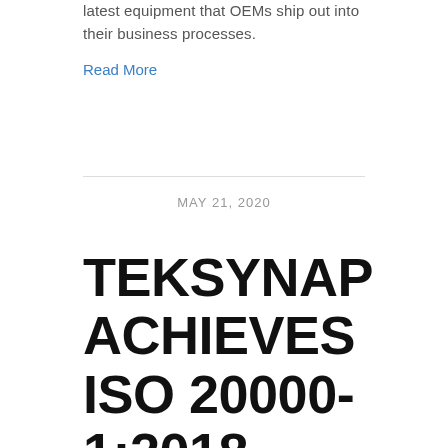latest equipment that OEMs ship out into their business processes.
Read More
MAY 21, 2020
TEKSYNAP ACHIEVES ISO 20000-1:2018 CERTIFICATION